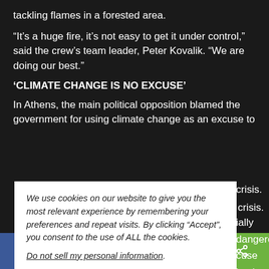tackling flames in a forested area.
“It’s a huge fire, it’s not easy to get it under control,” said the crew’s team leader, Peter Kovalik. “We are doing our best.”
‘CLIMATE CHANGE IS NO EXCUSE’
In Athens, the main political opposition blamed the government for using climate change as an excuse to [cover up the] crisis.
[...] ially dangerous [ex]cuse by the [gover]ngs and those of [follo]wing SYRIZA
We use cookies on our website to give you the most relevant experience by remembering your preferences and repeat visits. By clicking “Accept”, you consent to the use of ALL the cookies.
Do not sell my personal information.
[Figure (infographic): Social sharing bar at the bottom with Facebook, Twitter, Pinterest, SMS, and Share icons]